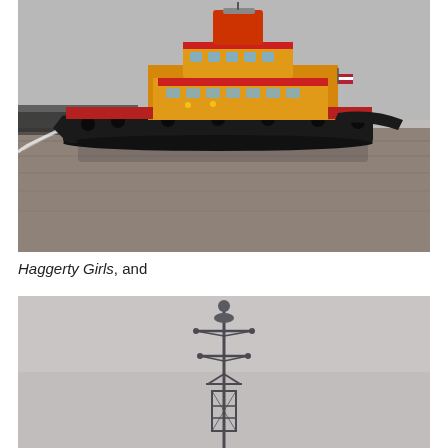[Figure (photo): A yellow and red tugboat with black hull traveling across calm brown-gray harbor water. The vessel has a superstructure with a red-and-yellow tower/wheelhouse, and appears to be underway with a wake. A flag is visible at the stern. In the background is a misty waterway with faint outlines of bridges or land.]
Haggerty Girls, and
[Figure (photo): A ship's mast or navigational structure rising against a uniformly gray, overcast sky. The mast shows radar or antenna equipment at the top and cross-arms and rigging below.]